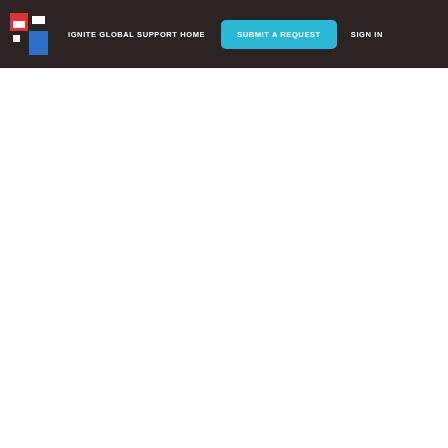IGNITE GLOBAL SUPPORT HOME  SUBMIT A REQUEST  SIGN IN